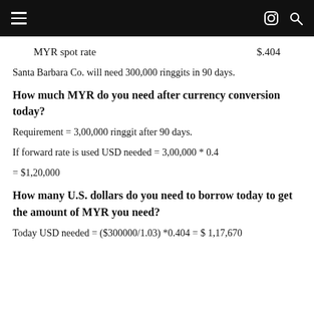|  |  |
| --- | --- |
| MYR spot rate | $.404 |
Santa Barbara Co. will need 300,000 ringgits in 90 days.
How much MYR do you need after currency conversion today?
Requirement = 3,00,000 ringgit after 90 days.
If forward rate is used USD needed = 3,00,000 * 0.4
= $1,20,000
How many U.S. dollars do you need to borrow today to get the amount of MYR you need?
Today USD needed = ($300000/1.03) *0.404 = $ 1,17,670